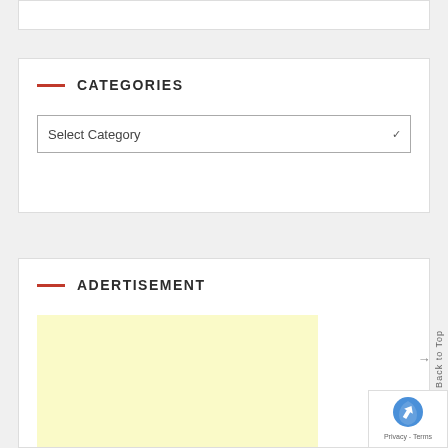CATEGORIES
Select Category
ADERTISEMENT
[Figure (other): Yellow advertisement placeholder box]
Back to Top
[Figure (other): Google reCAPTCHA badge with Privacy and Terms links]